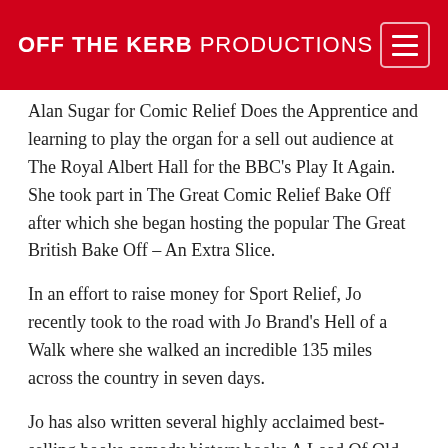OFF THE KERB PRODUCTIONS
Alan Sugar for Comic Relief Does the Apprentice and learning to play the organ for a sell out audience at The Royal Albert Hall for the BBC's Play It Again. She took part in The Great Comic Relief Bake Off after which she began hosting the popular The Great British Bake Off – An Extra Slice.
In an effort to raise money for Sport Relief, Jo recently took to the road with Jo Brand's Hell of a Walk where she walked an incredible 135 miles across the country in seven days.
Jo has also written several highly acclaimed best-selling books comedy history books A Load Of Old Balls and A Load Of Old Ball Crunchers (both Simon & Schuster), and the novels It's Different For Girls, Sorting Out Billy and The More You Ignore Me (all for Headline Review). Her autobiography Look Back In Hunger was followed by a second one about live performance